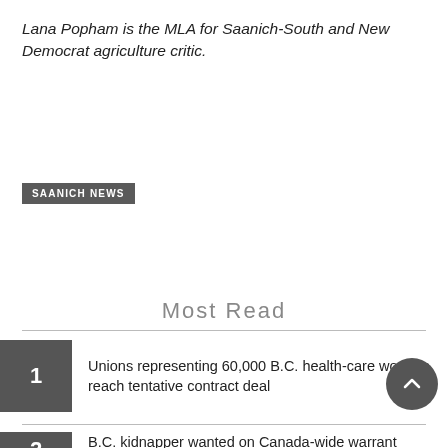Lana Popham is the MLA for Saanich-South and New Democrat agriculture critic.
SAANICH NEWS
Most Read
1 Unions representing 60,000 B.C. health-care workers reach tentative contract deal
2 B.C. kidnapper wanted on Canada-wide warrant